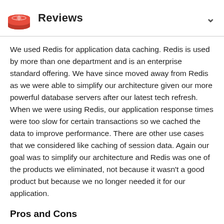Reviews
We used Redis for application data caching. Redis is used by more than one department and is an enterprise standard offering. We have since moved away from Redis as we were able to simplify our architecture given our more powerful database servers after our latest tech refresh. When we were using Redis, our application response times were too slow for certain transactions so we cached the data to improve performance. There are other use cases that we considered like caching of session data. Again our goal was to simplify our architecture and Redis was one of the products we eliminated, not because it wasn't a good product but because we no longer needed it for our application.
Pros and Cons